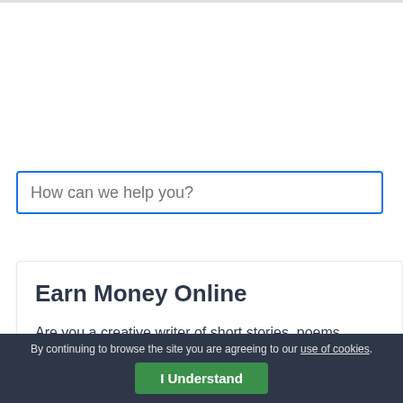How can we help you?
Earn Money Online
Are you a creative writer of short stories, poems, plays, Do you want to earn money from home ? Then you are
By continuing to browse the site you are agreeing to our use of cookies.
I Understand